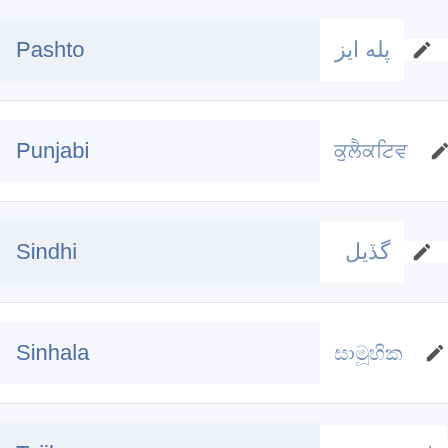| Language | Translation | Edit |
| --- | --- | --- |
| Pashto | پله ايز | ✎ |
| Punjabi | ਕੁਲੈਕਟਿਵ | ✎ |
| Sindhi | گڏيل | ✎ |
| Sinhala | සාමූහික | ✎ |
| Tajik | коллективі | ✎ |
| Tamil | கூட்டாக | ✎ |
| Telugu | సామూహిక | ✎ |